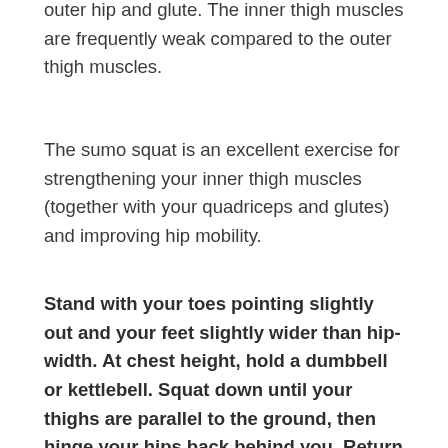outer hip and glute. The inner thigh muscles are frequently weak compared to the outer thigh muscles.
The sumo squat is an excellent exercise for strengthening your inner thigh muscles (together with your quadriceps and glutes) and improving hip mobility.
Stand with your toes pointing slightly out and your feet slightly wider than hip-width. At chest height, hold a dumbbell or kettlebell. Squat down until your thighs are parallel to the ground, then hinge your hips back behind you. Return to standing by pressing your feet onto the floor.
Make sure your back is flat, and your chest is up throughout the workout. Rep as many times as you'd